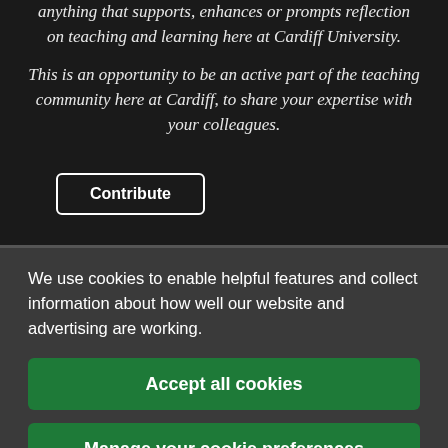anything that supports, enhances or prompts reflection on teaching and learning here at Cardiff University.
This is an opportunity to be an active part of the teaching community here at Cardiff, to share your expertise with your colleagues.
Contribute
We use cookies to enable helpful features and collect information about how well our website and advertising are working.
Accept all cookies
Manage your cookie preferences